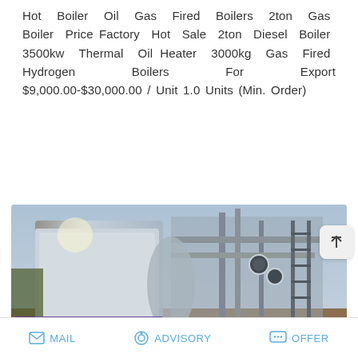Hot Boiler Oil Gas Fired Boilers 2ton Gas Boiler Price Factory Hot Sale 2ton Diesel Boiler 3500kw Thermal Oil Heater 3000kg Gas Fired Hydrogen Boilers For Export $9,000.00-$30,000.00 / Unit 1.0 Units (Min. Order)
[Figure (other): Blue rounded rectangle button with white bold text reading READ MORE]
[Figure (photo): Photograph of an industrial gas/oil fired boiler installation outside, with pipes, gauges, and metal structure visible against a sky background. A WhatsApp sticker save overlay appears in the bottom left corner of the photo.]
MAIL   ADVISORY   OFFER